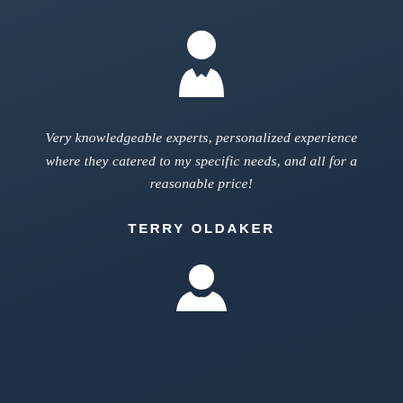[Figure (illustration): White person/user icon (head circle and shoulders/jacket silhouette) centered at top]
Very knowledgeable experts, personalized experience where they catered to my specific needs, and all for a reasonable price!
TERRY OLDAKER
[Figure (illustration): White person/user icon (head circle and shoulders silhouette) partially visible at bottom center]